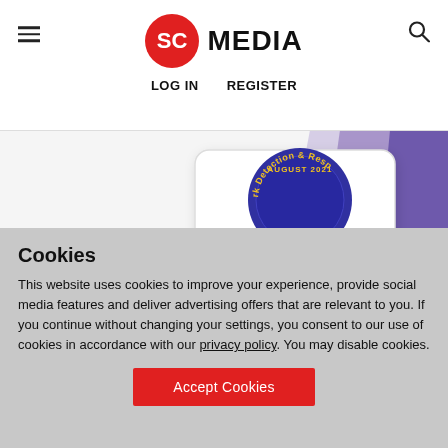SC MEDIA — LOG IN   REGISTER
[Figure (photo): SC Media website screenshot showing a product card for VMware NSX Network Detection and Response, with a circular badge reading AUGUST 2021 and a decorative purple ribbon background with cloud illustration.]
Cookies
This website uses cookies to improve your experience, provide social media features and deliver advertising offers that are relevant to you. If you continue without changing your settings, you consent to our use of cookies in accordance with our privacy policy. You may disable cookies.
Accept Cookies